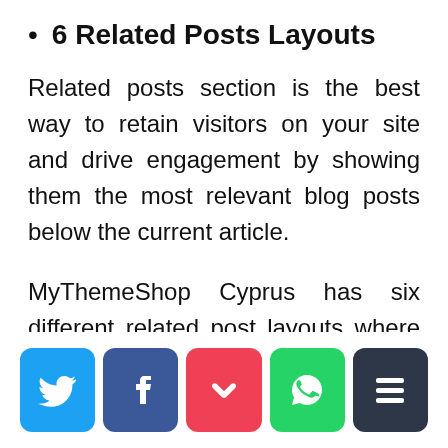6 Related Posts Layouts
Related posts section is the best way to retain visitors on your site and drive engagement by showing them the most relevant blog posts below the current article.
MyThemeShop Cyprus has six different related post layouts where you can
[Figure (infographic): Social sharing bar with Twitter, Facebook, Pocket, WhatsApp, and Buffer icons]